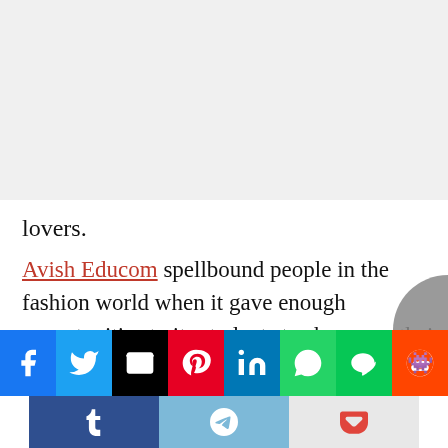lovers.
Avish Educom spellbound people in the fashion world when it gave enough opportunities to its students to showcase their talents on fashion shows and platforms. Their students have twice been a part of Bangalore Fashion Week and once even attempted for a Guinness Book of World Records for the longest fashion show by DreamZone. 40 students had participated in the same and even earned certificates. They have also been a part of…
[Figure (other): Social media share buttons bar: Facebook (blue), Twitter (blue), Email (black), Pinterest (red), LinkedIn (blue), WhatsApp (green), Line (green), Reddit (orange), Tumblr (blue), Telegram (light blue), Pocket (grey)]